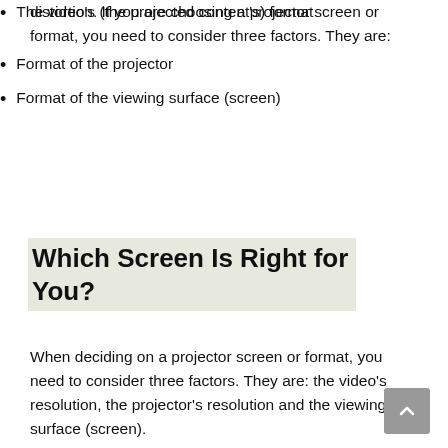distortion. If you are choosing a projector screen or format, you need to consider three factors. They are:
The video's (the projected content's) format
Format of the projector
Format of the viewing surface (screen)
Which Screen Is Right for You?
When deciding on a projector screen or format, you need to consider three factors. They are: the video's resolution, the projector's resolution and the viewing surface (screen).